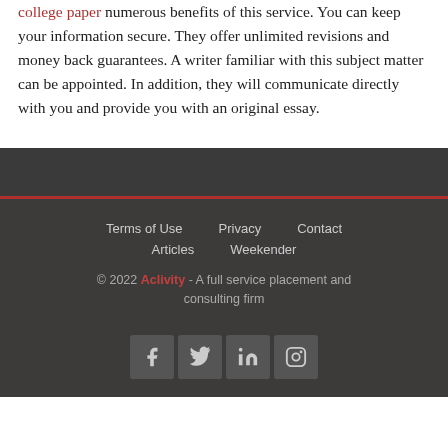college paper numerous benefits of this service. You can keep your information secure. They offer unlimited revisions and money back guarantees. A writer familiar with this subject matter can be appointed. In addition, they will communicate directly with you and provide you with an original essay.
Terms of Use  Privacy  Contact  Articles  Weekender  © 2022 Aclivity - A full service placement and consulting firm